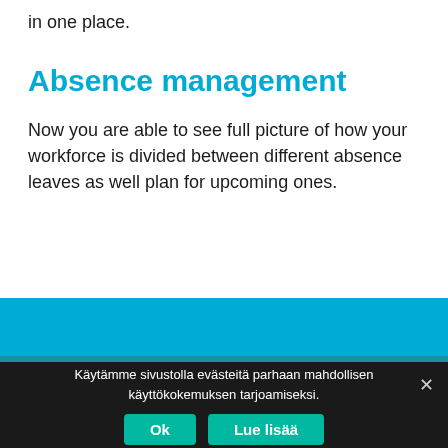in one place.
Absence management
Now you are able to see full picture of how your workforce is divided between different absence leaves as well plan for upcoming ones.
Käytämme sivustolla evästeitä parhaan mahdollisen käyttökokemuksen tarjoamiseksi.
Ok   Lue lisää